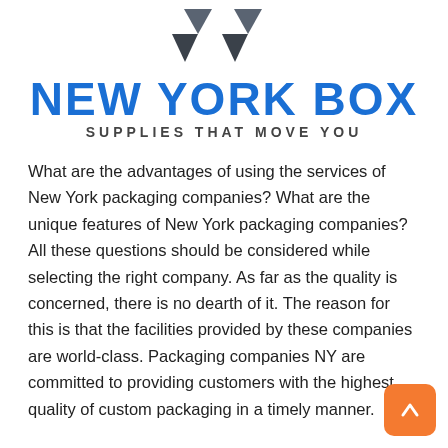[Figure (logo): New York Box logo with two diamond/arrow shapes in grey above the brand name, and tagline 'SUPPLIES THAT MOVE YOU' below]
What are the advantages of using the services of New York packaging companies? What are the unique features of New York packaging companies? All these questions should be considered while selecting the right company. As far as the quality is concerned, there is no dearth of it. The reason for this is that the facilities provided by these companies are world-class. Packaging companies NY are committed to providing customers with the highest quality of custom packaging in a timely manner.